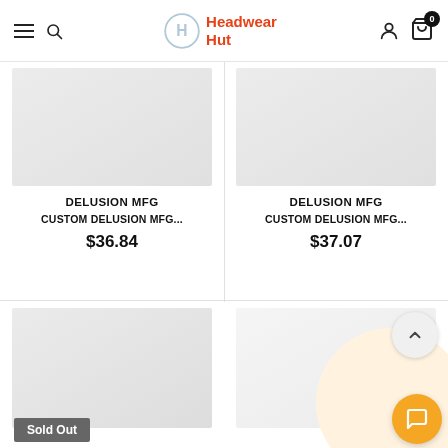Headwear Hut – navigation header with menu, search, logo, account, and cart (0 items)
DELUSION MFG
CUSTOM DELUSION MFG...
$36.84
DELUSION MFG
CUSTOM DELUSION MFG...
$37.07
Sold Out